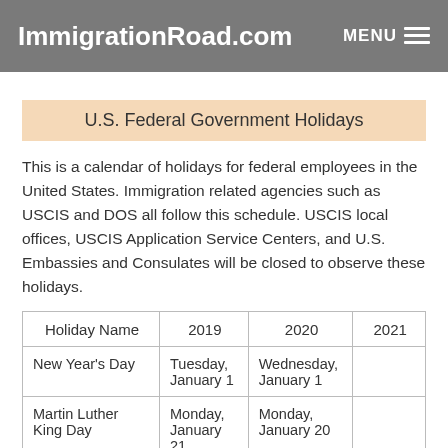ImmigrationRoad.com   MENU
U.S. Federal Government Holidays
This is a calendar of holidays for federal employees in the United States. Immigration related agencies such as USCIS and DOS all follow this schedule. USCIS local offices, USCIS Application Service Centers, and U.S. Embassies and Consulates will be closed to observe these holidays.
| Holiday Name | 2019 | 2020 | 2021 |
| --- | --- | --- | --- |
| New Year's Day | Tuesday, January 1 | Wednesday, January 1 |  |
| Martin Luther King Day | Monday, January 21 | Monday, January 20 |  |